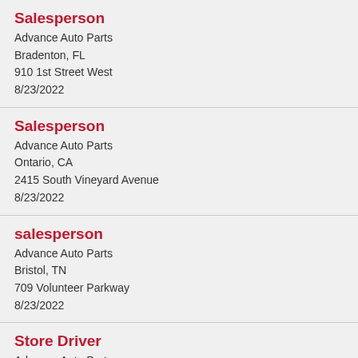Salesperson
Advance Auto Parts
Bradenton, FL
910 1st Street West
8/23/2022
Salesperson
Advance Auto Parts
Ontario, CA
2415 South Vineyard Avenue
8/23/2022
salesperson
Advance Auto Parts
Bristol, TN
709 Volunteer Parkway
8/23/2022
Store Driver
Advance Auto Parts
Merrillville, IN
5790 Broadway
8/23/2022